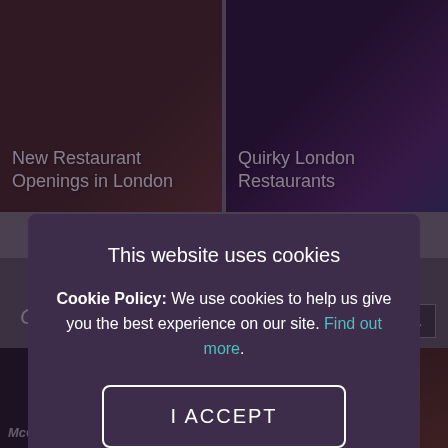[Figure (screenshot): Background website showing restaurant/nightclub category cards. Top left card: 'New Restaurant Openings in London'. Top right card: 'Quirky London Restaurants'. Bottom left partial text: 'Clubs In London'. Bottom right has 'SEE MORE' button. Two bottom image cards partially visible: left showing McQUEEN, right showing interior.]
This website uses cookies
Cookie Policy: We use cookies to help us give you the best experience on our site. Find out more.
I ACCEPT
I DO NOT ACCEPT